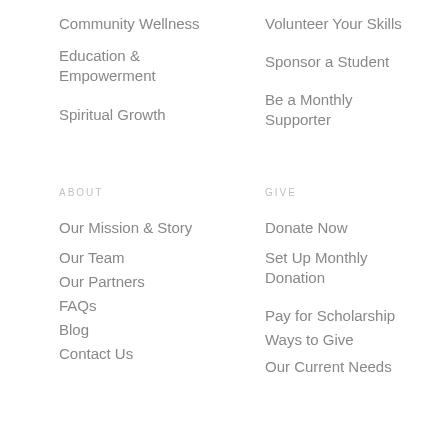Community Wellness
Education & Empowerment
Spiritual Growth
Volunteer Your Skills
Sponsor a Student
Be a Monthly Supporter
ABOUT
GIVE
Our Mission & Story
Our Team
Our Partners
FAQs
Blog
Contact Us
Donate Now
Set Up Monthly Donation
Pay for Scholarship
Ways to Give
Our Current Needs